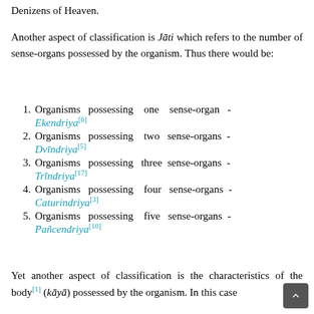Denizens of Heaven.
Another aspect of classification is Jāti which refers to the number of sense-organs possessed by the organism. Thus there would be:
Organisms possessing one sense-organ - Ekendriya[6]
Organisms possessing two sense-organs - Dvīndriya[5]
Organisms possessing three sense-organs - Trīndriya[17]
Organisms possessing four sense-organs - Caturindriya[3]
Organisms possessing five sense-organs - Pañcendriya[10]
Yet another aspect of classification is the characteristics of the body[1] (kāyā) possessed by the organism. In this case